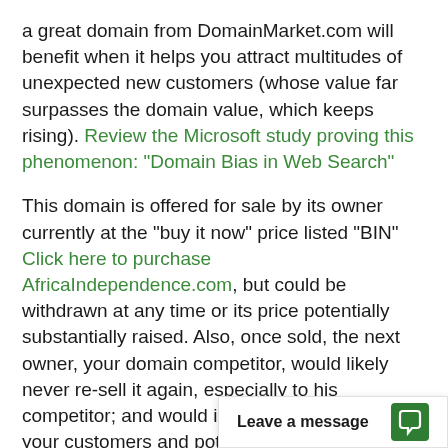a great domain from DomainMarket.com will benefit when it helps you attract multitudes of unexpected new customers (whose value far surpasses the domain value, which keeps rising). Review the Microsoft study proving this phenomenon: "Domain Bias in Web Search"
This domain is offered for sale by its owner currently at the "buy it now" price listed "BIN" Click here to purchase AfricaIndependence.com, but could be withdrawn at any time or its price potentially substantially raised. Also, once sold, the next owner, your domain competitor, would likely never re-sell it again, especially to his competitor; and would instead try to take all your customers and potential customers, year after year, to the extent possible, which you should do t[obscured by widget] domain first.